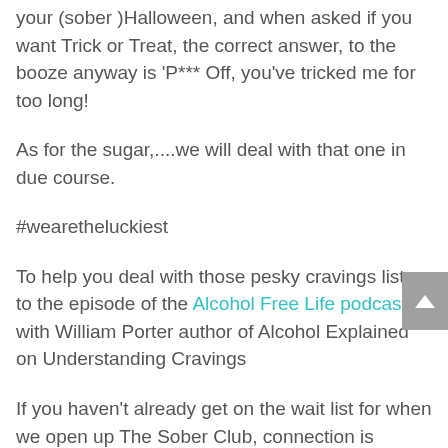your (sober )Halloween, and when asked if you want Trick or Treat, the correct answer, to the booze anyway is 'P*** Off, you've tricked me for too long!
As for the sugar,....we will deal with that one in due course.
#wearetheluckiest
To help you deal with those pesky cravings listen to the episode of the Alcohol Free Life podcast with William Porter author of Alcohol Explained on Understanding Cravings
If you haven't already get on the wait list for when we open up The Sober Club, connection is everything,